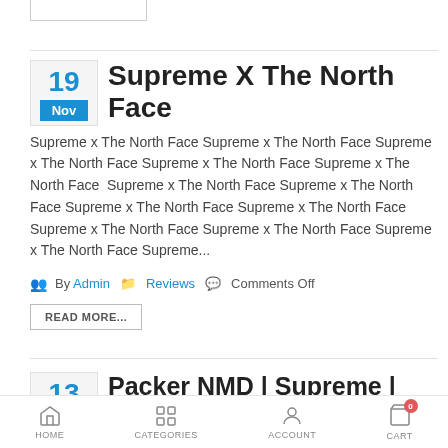Supreme X The North Face
Supreme x The North Face Supreme x The North Face Supreme x The North Face Supreme x The North Face Supreme x The North Face  Supreme x The North Face Supreme x The North Face Supreme x The North Face Supreme x The North Face Supreme x The North Face Supreme x The North Face Supreme x The North Face Supreme...
By Admin   Reviews   Comments Off
READ MORE...
Packer NMD | Supreme | Black Toe | Jordans
HOME   CATEGORIES   ACCOUNT   CART